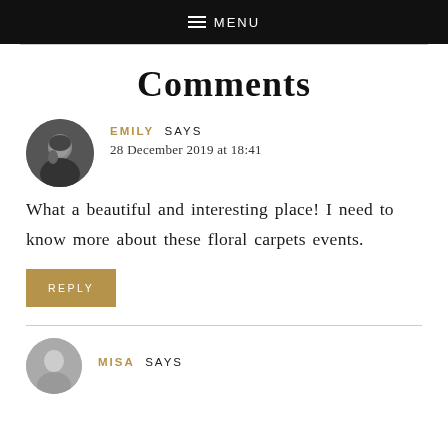MENU
Comments
EMILY SAYS
28 December 2019 at 18:41
What a beautiful and interesting place! I need to know more about these floral carpets events.
REPLY
MISA SAYS